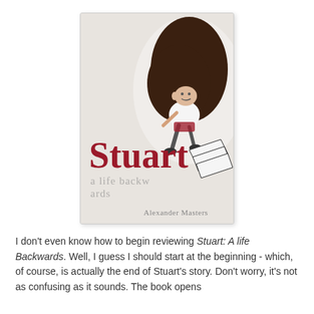[Figure (illustration): Book cover of 'Stuart: A life backwards' by Alexander Masters. Light gray/beige background with a large dark blob shape in the upper right. A line-drawing illustration of a figure (Stuart) crouching or sitting. Large red serif title 'Stuart' in the lower-middle area, subtitle 'a life backwards' in gray serif text below, and 'Alexander Masters' at the bottom right.]
I don't even know how to begin reviewing Stuart: A life Backwards. Well, I guess I should start at the beginning - which, of course, is actually the end of Stuart's story. Don't worry, it's not as confusing as it sounds. The book opens